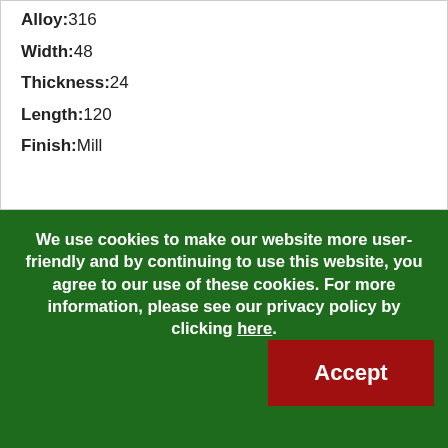Alloy: 316
Width: 48
Thickness: 24
Length: 120
Finish: Mill
WGT/FT(SQFT):1.008
Price: $37.434
QTY: 1
We use cookies to make our website more user-friendly and by continuing to use this website, you agree to our use of these cookies. For more information, please see our privacy policy by clicking here.
Pages: 1
316 Stainless Steel Plate & Sheet